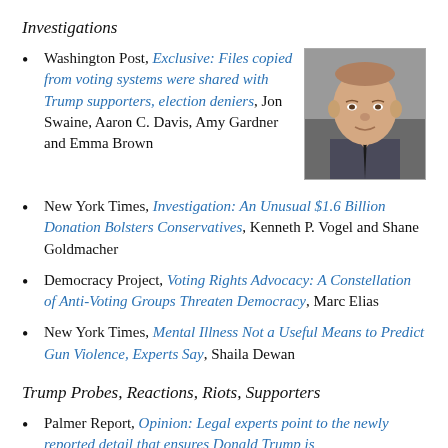Investigations
Washington Post, Exclusive: Files copied from voting systems were shared with Trump supporters, election deniers, Jon Swaine, Aaron C. Davis, Amy Gardner and Emma Brown
[Figure (photo): Headshot photo of a bald older man in a suit and tie]
New York Times, Investigation: An Unusual $1.6 Billion Donation Bolsters Conservatives, Kenneth P. Vogel and Shane Goldmacher
Democracy Project, Voting Rights Advocacy: A Constellation of Anti-Voting Groups Threaten Democracy, Marc Elias
New York Times, Mental Illness Not a Useful Means to Predict Gun Violence, Experts Say, Shaila Dewan
Trump Probes, Reactions, Riots, Supporters
Palmer Report, Opinion: Legal experts point to the newly reported detail that ensures Donald Trump is